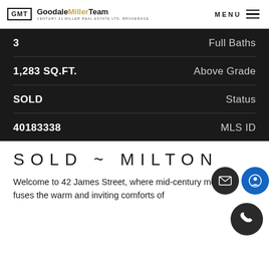GMT GoodaleMillerTeam CENTURY 21 MILLER REAL ESTATE LTD. BROKERAGE | MENU
| Value | Label |
| --- | --- |
| 3 | Full Baths |
| 1,283 SQ.FT. | Above Grade |
| SOLD | Status |
| 40183338 | MLS ID |
SOLD ~ MILTON
Welcome to 42 James Street, where mid-century modern fuses the warm and inviting comforts of